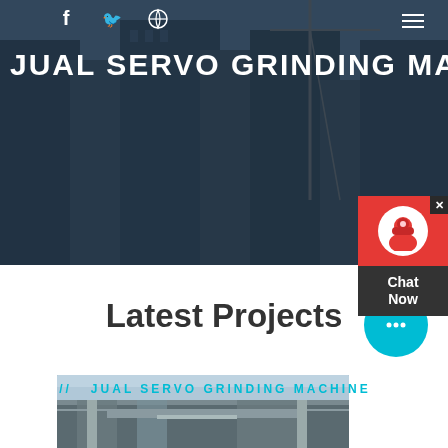[Figure (screenshot): Hero banner with dark-overlaid construction site background (cranes, buildings under construction)]
JUAL SERVO GRINDING MACHINE
HOME // PRODUCTS // JUAL SERVO GRINDING MACHINE
[Figure (other): Red chat widget with headset avatar and Chat Now label, with X close button]
Latest Projects
[Figure (other): Cyan circular chat bubble icon with ellipsis]
[Figure (photo): Industrial project photo showing construction machinery and structure]